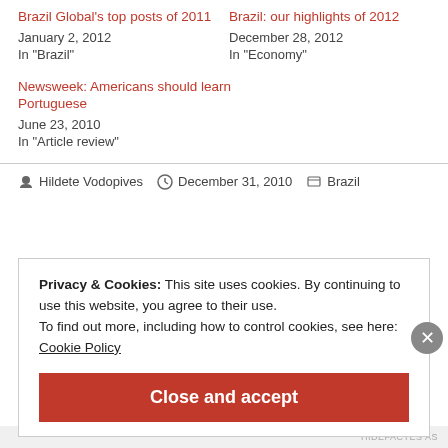Brazil Global's top posts of 2011
January 2, 2012
In "Brazil"
Brazil: our highlights of 2012
December 28, 2012
In "Economy"
Newsweek: Americans should learn Portuguese
June 23, 2010
In "Article review"
Hildete Vodopives   December 31, 2010   Brazil
Privacy & Cookies: This site uses cookies. By continuing to use this website, you agree to their use.
To find out more, including how to control cookies, see here:
Cookie Policy
Close and accept